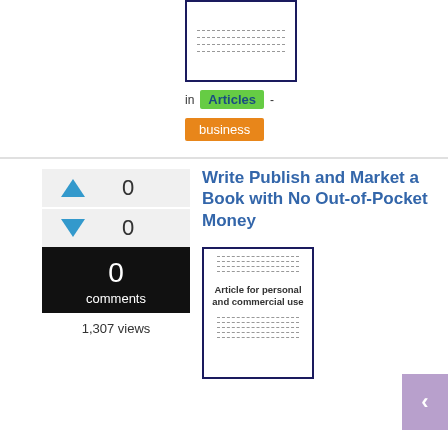[Figure (illustration): Thumbnail image of an article document with dashed lines]
in Articles -
business
Write Publish and Market a Book with No Out-of-Pocket Money
0 comments, 1,307 views, vote up 0, vote down 0
[Figure (illustration): Thumbnail image of an article document with dashed lines and text 'Article for personal and commercial use']
in Articles -